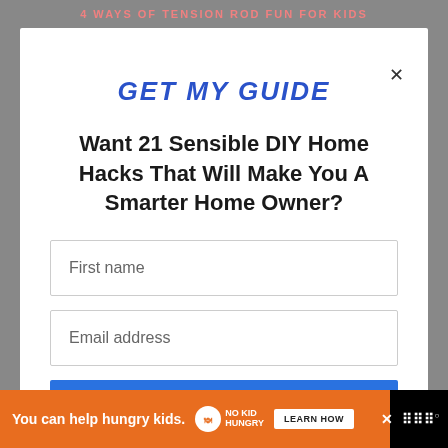4 WAYS OF TENSION ROD FUN FOR KIDS
GET MY GUIDE
Want 21 Sensible DIY Home Hacks That Will Make You A Smarter Home Owner?
First name
Email address
YES, I WANT IT!
You can help hungry kids. NO KID HUNGRY LEARN HOW